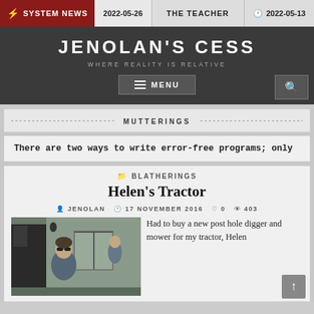⚡ SYSTEM NEWS | 2022-05-26 | THE TEACHER | 🕐 2022-05-13
JENOLAN'S CESS
WHERE REALITY IS RELATIVE
MUTTERINGS
There are two ways to write error-free programs; only
BLATHERINGS
Helen's Tractor
JENOLAN   17 NOVEMBER 2016   0   403
[Figure (photo): Photo of a person wearing sunglasses outdoors near a building]
Had to buy a new post hole digger and mower for my tractor, Helen